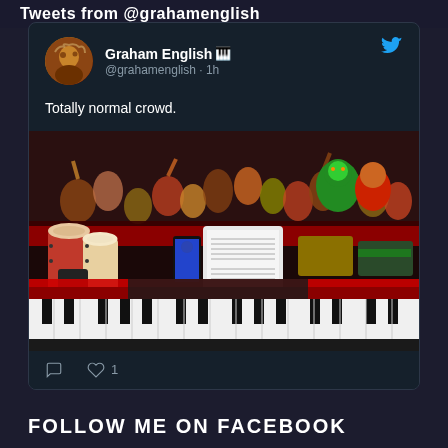Tweets from @grahamenglish
Graham English 🎹 @grahamenglish · 1h
Totally normal crowd.
[Figure (photo): View from a keyboard/synthesizer stage setup showing conga drums on the left, a tablet with sheet music and a smartphone in the center, and additional keyboard equipment on the right, with a large crowd visible in the background including a person in a green mascot costume.]
♡ 1
FOLLOW ME ON FACEBOOK